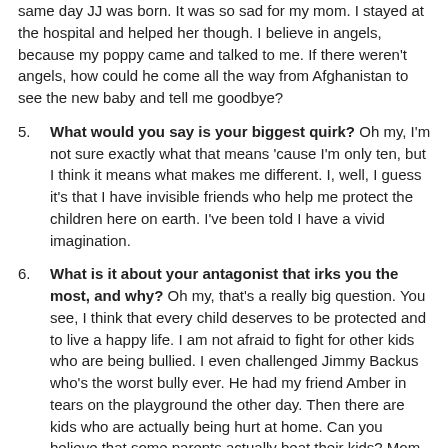same day JJ was born. It was so sad for my mom. I stayed at the hospital and helped her though. I believe in angels, because my poppy came and talked to me. If there weren't angels, how could he come all the way from Afghanistan to see the new baby and tell me goodbye?
5. What would you say is your biggest quirk? Oh my, I'm not sure exactly what that means 'cause I'm only ten, but I think it means what makes me different. I, well, I guess it's that I have invisible friends who help me protect the children here on earth. I've been told I have a vivid imagination.
6. What is it about your antagonist that irks you the most, and why? Oh my, that's a really big question. You see, I think that every child deserves to be protected and to live a happy life. I am not afraid to fight for other kids who are being bullied. I even challenged Jimmy Backus who's the worst bully ever. He had my friend Amber in tears on the playground the other day. Then there are kids who are actually being hurt at home. Can you believe that some parents actually beat their kids? Mom and Poppy